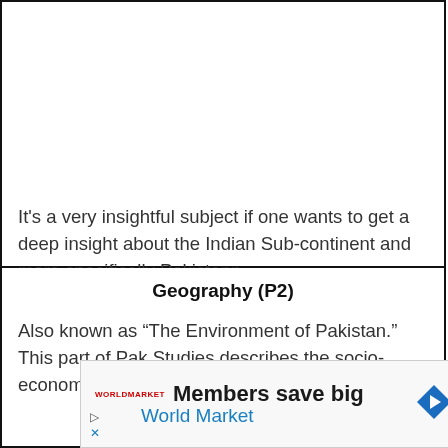It's a very insightful subject if one wants to get a deep insight about the Indian Sub-continent and more specifically Pakistann.
Geography (P2)
Also known as “The Environment of Pakistan.” This part of Pak Studies describes the socio-economic side of things about Pakistan.
[Figure (other): Advertisement banner: 'Members save big / World Market' with a logo and directional arrow icon]